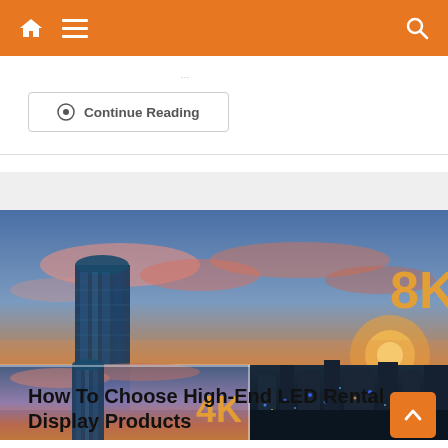Navigation bar with home icon, menu icon, and search icon
Continue Reading
[Figure (screenshot): Cityscape at sunset showing a tall glass skyscraper and city skyline at dusk with orange and blue sky. Two panels: large panel with '8K' label in orange, smaller overlay panel with '4K' label in orange.]
How To Choose High-End LED Rental Display Products